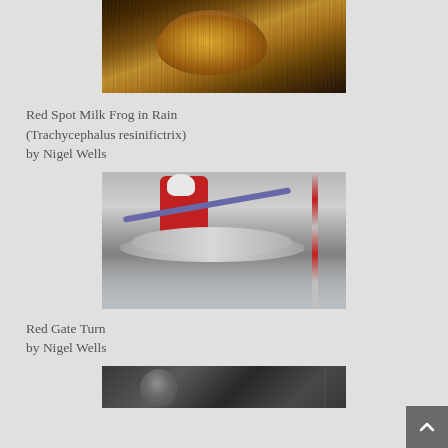[Figure (photo): Photo of a Red Spot Milk Frog (Trachycephalus resinifictrix) sitting on a log or branch in the rain, close-up macro shot with warm brown tones]
Red Spot Milk Frog in Rain (Trachycephalus resinifictrix)
by Nigel Wells
[Figure (photo): Black and white action photo of a young kayaker in a red jacket and white helmet navigating whitewater rapids near a slalom gate pole with red and white markings]
Red Gate Turn
by Nigel Wells
[Figure (photo): Partially visible black and white photo at the bottom of the page, showing what appears to be a person's face or portrait]